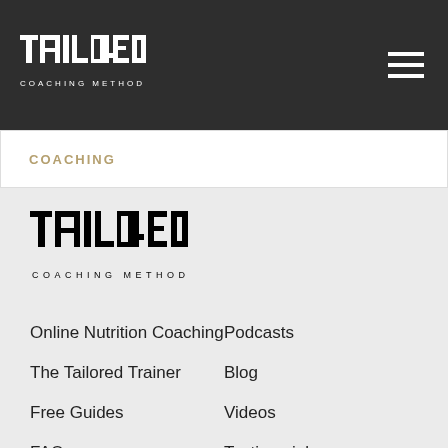[Figure (logo): Tailored Coaching Method logo in white on dark background, top nav bar]
COACHING
[Figure (logo): Tailored Coaching Method logo in black on light gray background, footer area]
Online Nutrition Coaching
The Tailored Trainer
Free Guides
FAQ
Podcasts
Blog
Videos
Testimonials
Meet the Team